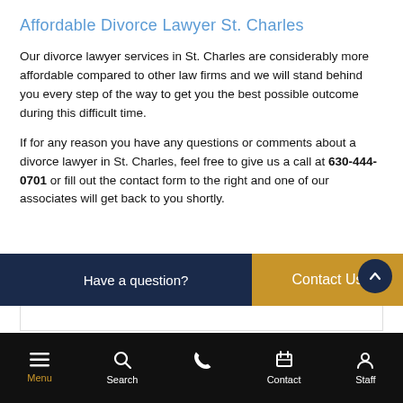Affordable Divorce Lawyer St. Charles
Our divorce lawyer services in St. Charles are considerably more affordable compared to other law firms and we will stand behind you every step of the way to get you the best possible outcome during this difficult time.
If for any reason you have any questions or comments about a divorce lawyer in St. Charles, feel free to give us a call at 630-444-0701 or fill out the contact form to the right and one of our associates will get back to you shortly.
[Figure (infographic): Call to action bar with dark navy background reading 'Have a question?' on the left and a gold/amber 'Contact Us' button on the right. A circular scroll-to-top button appears to the right.]
Menu | Search | (phone icon) | Contact | Staff